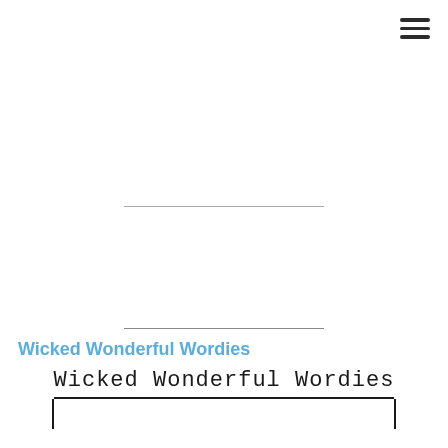[Figure (other): Hamburger menu icon (three horizontal lines) in the top-right corner]
Wicked Wonderful Wordies
[Figure (illustration): Book cover image showing the text 'Wicked Wonderful Wordies' in monospace handwritten style with a rectangular border at the bottom of the page]